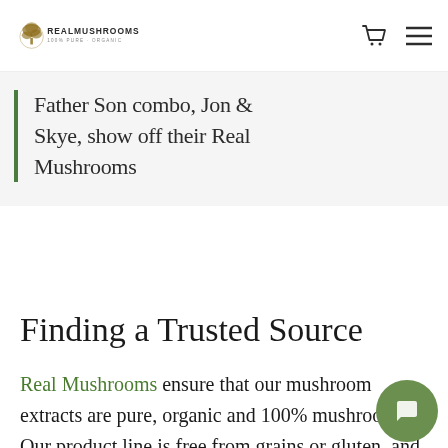REAL MUSHROOMS
Father Son combo, Jon & Skye, show off their Real Mushrooms
Finding a Trusted Source
Real Mushrooms ensure that our mushroom extracts are pure, organic and 100% mushroom. Our product line is free from grains or gluten, and it has no fillers. We only use the mushroom (the fruiting body) to provide the most beneficial medicinal compounds. Our